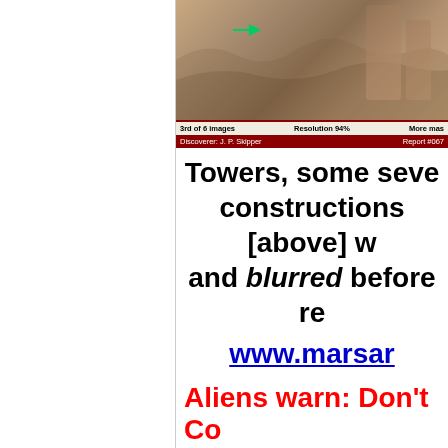[Figure (photo): Cropped Mars surface image with a green arrow indicator, showing terrain features. Bottom bars read: '3rd of 6 images', 'Resolution 94%', 'More mas...', 'Discoverer: J. P. Skipper', 'Report #067']
Towers, some seve... constructions [above] w... and blurred before re...
www.marsar...
Aliens warn: Don't Co...
As reported on
www.ufoosebook.com...